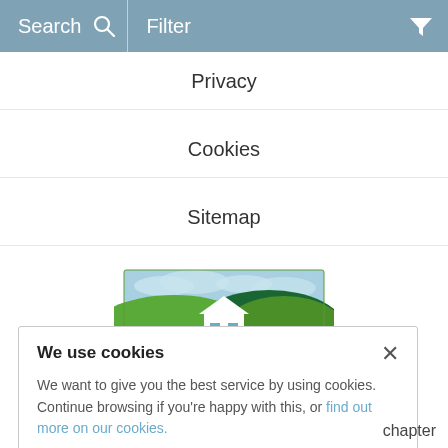Search   Filter
Privacy
Cookies
Sitemap
[Figure (logo): Brecon Beacons Holiday Cottages logo with illustrated green hills and white cottage]
We use cookies
We want to give you the best service by using cookies. Continue browsing if you're happy with this, or find out more on our cookies.
chapter